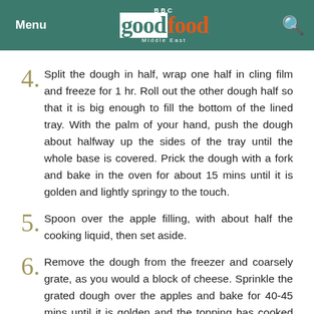Menu | BBC Good Food Middle East | Search
4. Split the dough in half, wrap one half in cling film and freeze for 1 hr. Roll out the other dough half so that it is big enough to fill the bottom of the lined tray. With the palm of your hand, push the dough about halfway up the sides of the tray until the whole base is covered. Prick the dough with a fork and bake in the oven for about 15 mins until it is golden and lightly springy to the touch.
5. Spoon over the apple filling, with about half the cooking liquid, then set aside.
6. Remove the dough from the freezer and coarsely grate, as you would a block of cheese. Sprinkle the grated dough over the apples and bake for 40-45 mins until it is golden and the topping has cooked through. Leave to cool completely, dust with icing sugar, then cut into squares. Whip the cream until thick, stir in the cinnamon and serve